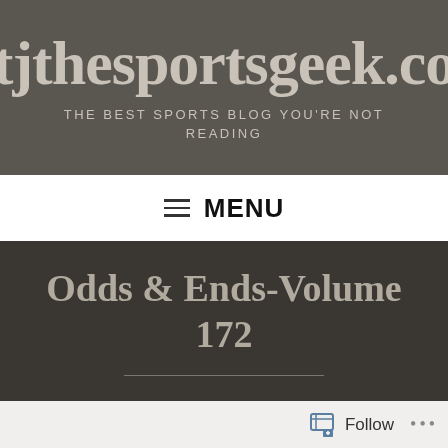tjthesportsgeek.com — THE BEST SPORTS BLOG YOU'RE NOT READING
MENU
Odds & Ends-Volume 172
Follow •••